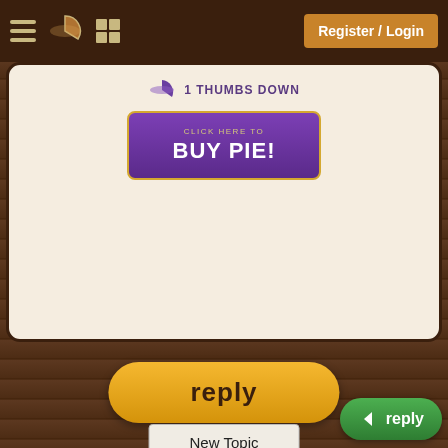Register / Login
[Figure (screenshot): Forum post card showing thumbs down icon, text '1 Thumbs Down', and a purple 'Click here to BUY PIE!' button]
reply
New Topic
◄  1  2  Go
Go to page...  [input]  Go  Cancel
This thread has been viewed 1982 times.